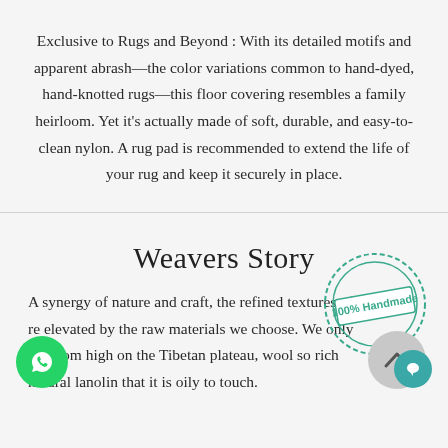Exclusive to Rugs and Beyond : With its detailed motifs and apparent abrash—the color variations common to hand-dyed, hand-knotted rugs—this floor covering resembles a family heirloom. Yet it's actually made of soft, durable, and easy-to-clean nylon. A rug pad is recommended to extend the life of your rug and keep it securely in place.
[Figure (illustration): 100% Handmade circular stamp badge in teal/green color]
Weavers Story
A synergy of nature and craft, the refined textures of our are elevated by the raw materials we choose. We only ool from high on the Tibetan plateau, wool so rich natural lanolin that it is oily to touch.
[Figure (logo): WhatsApp green circular button icon at bottom left]
[Figure (illustration): Grey scroll-to-top circular button with up chevron]
[Figure (illustration): Teal chat bubble circular button at bottom right]